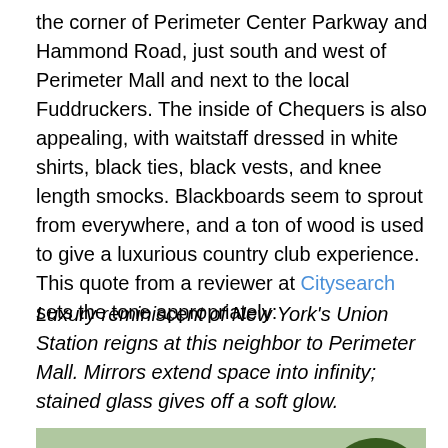the corner of Perimeter Center Parkway and Hammond Road, just south and west of Perimeter Mall and next to the local Fuddruckers. The inside of Chequers is also appealing, with waitstaff dressed in white shirts, black ties, black vests, and knee length smocks. Blackboards seem to sprout from everywhere, and a ton of wood is used to give a luxurious country club experience. This quote from a reviewer at Citysearch sets the tone appropriately:
Luxury reminiscent of New York's Union Station reigns at this neighbor to Perimeter Mall. Mirrors extend space into infinity; stained glass gives off a soft glow.
[Figure (photo): Exterior photo of Chequers Seafood Grill restaurant building with trees and flowering shrubs in front, and a circular black sign with the Chequers Seafood Grill logo visible in the lower right.]